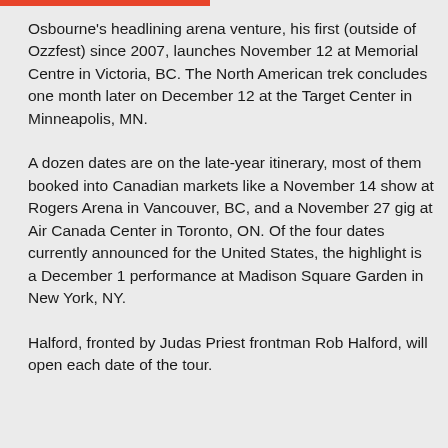Osbourne's headlining arena venture, his first (outside of Ozzfest) since 2007, launches November 12 at Memorial Centre in Victoria, BC. The North American trek concludes one month later on December 12 at the Target Center in Minneapolis, MN.
A dozen dates are on the late-year itinerary, most of them booked into Canadian markets like a November 14 show at Rogers Arena in Vancouver, BC, and a November 27 gig at Air Canada Center in Toronto, ON. Of the four dates currently announced for the United States, the highlight is a December 1 performance at Madison Square Garden in New York, NY.
Halford, fronted by Judas Priest frontman Rob Halford, will open each date of the tour.